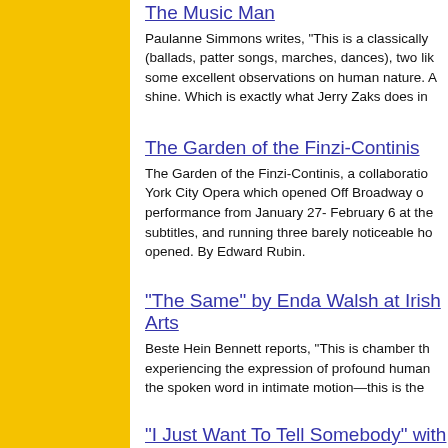The Music Man
Paulanne Simmons writes, "This is a classically (ballads, patter songs, marches, dances), two lik some excellent observations on human nature. A shine. Which is exactly what Jerry Zaks does in
The Garden of the Finzi-Continis
The Garden of the Finzi-Continis, a collaboratio York City Opera which opened Off Broadway o performance from January 27- February 6 at the subtitles, and running three barely noticeable ho opened. By Edward Rubin.
"The Same" by Enda Walsh at Irish Arts
Beste Hein Bennett reports, "This is chamber th experiencing the expression of profound human the spoken word in intimate motion—this is the
"I Just Want To Tell Somebody" with Ron